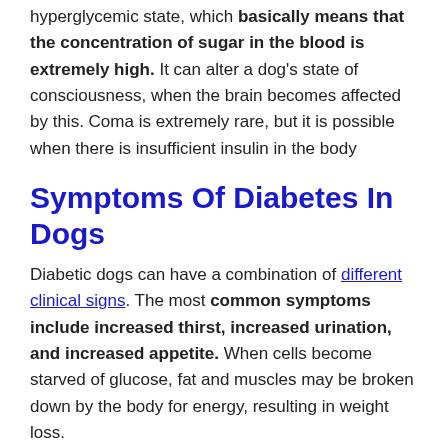hyperglycemic state, which basically means that the concentration of sugar in the blood is extremely high. It can alter a dog's state of consciousness, when the brain becomes affected by this. Coma is extremely rare, but it is possible when there is insufficient insulin in the body
Symptoms Of Diabetes In Dogs
Diabetic dogs can have a combination of different clinical signs. The most common symptoms include increased thirst, increased urination, and increased appetite. When cells become starved of glucose, fat and muscles may be broken down by the body for energy, resulting in weight loss.